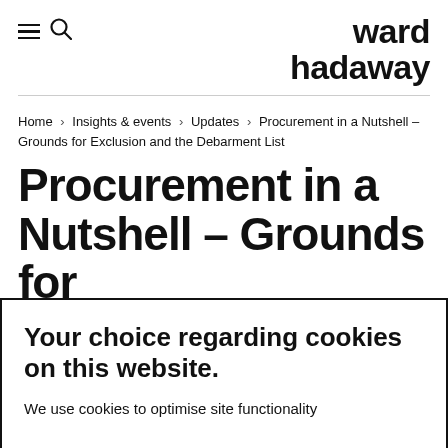ward hadaway
Home › Insights & events › Updates › Procurement in a Nutshell – Grounds for Exclusion and the Debarment List
Procurement in a Nutshell – Grounds for
Your choice regarding cookies on this website.
We use cookies to optimise site functionality